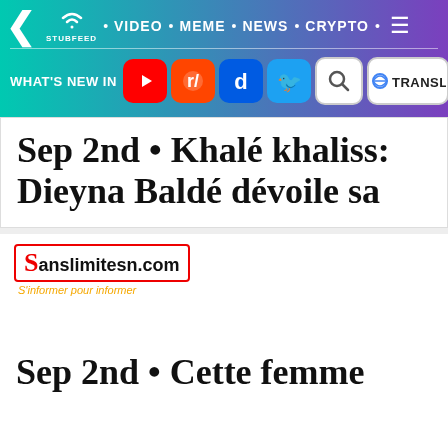[Figure (screenshot): StubFeed navigation bar with back arrow, logo, VIDEO, MEME, NEWS, CRYPTO links, hamburger menu, and social media icons row (YouTube, Reddit, Digg, Twitter, Search, Google Translate) on a teal-to-purple gradient background]
Sep 2nd • Khalé khaliss: Dieyna Baldé dévoile sa
[Figure (logo): Sanslimitesn.com logo with red S, tagline 'S'informer pour informer' in orange]
Sep 2nd • Cette femme